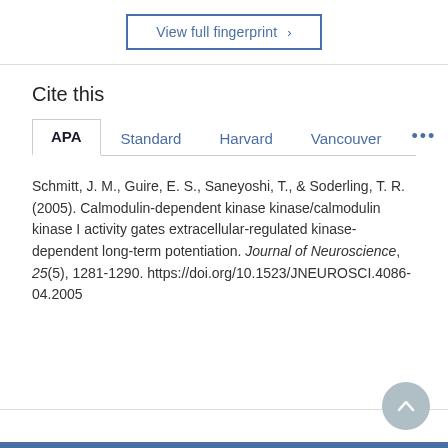[Figure (other): View full fingerprint button with right-pointing chevron, styled with blue border]
Cite this
APA  Standard  Harvard  Vancouver  ...
Schmitt, J. M., Guire, E. S., Saneyoshi, T., & Soderling, T. R. (2005). Calmodulin-dependent kinase kinase/calmodulin kinase I activity gates extracellular-regulated kinase-dependent long-term potentiation. Journal of Neuroscience, 25(5), 1281-1290. https://doi.org/10.1523/JNEUROSCI.4086-04.2005